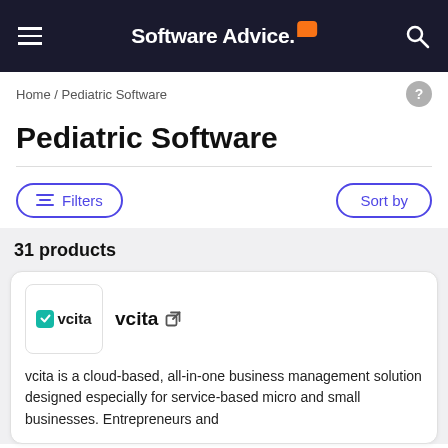Software Advice
Home / Pediatric Software
Pediatric Software
Filters   Sort by
31 products
vcita
vcita is a cloud-based, all-in-one business management solution designed especially for service-based micro and small businesses. Entrepreneurs and